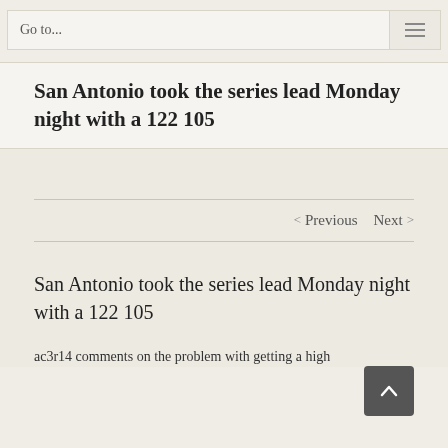Go to...
San Antonio took the series lead Monday night with a 122 105
Previous   Next
San Antonio took the series lead Monday night with a 122 105
ac3r14 comments on the problem with getting a high